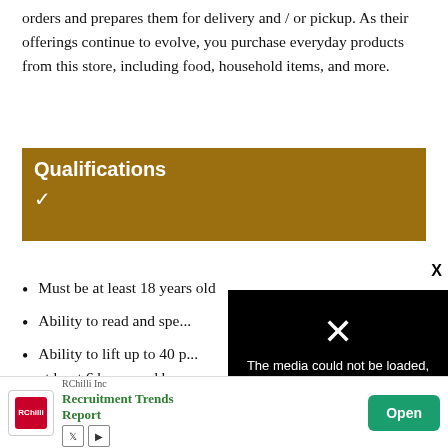orders and prepares them for delivery and / or pickup. As their offerings continue to evolve, you purchase everyday products from this store, including food, household items, and more.
Qualifications
Must be at least 18 years old
Ability to read and spe...
Ability to lift up to 40 ... at least 6 hours and be ... stoop, and reach freque...
[Figure (screenshot): Media error overlay: black box with white text 'The media could not be loaded, either because the server or network failed or because the format is not supported.' with a large X icon.]
[Figure (infographic): Advertisement banner for RChilli Inc - Recruitment Trends Report with Open button.]